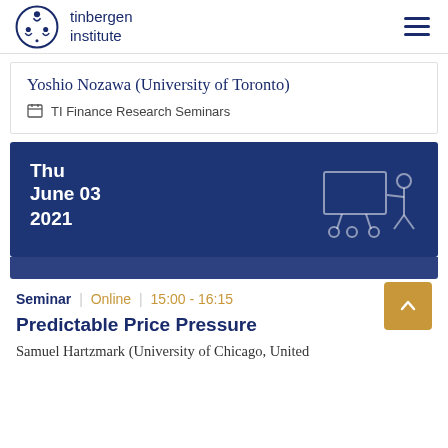[Figure (logo): Tinbergen Institute logo with stylized figure and text]
Yoshio Nozawa (University of Toronto)
TI Finance Research Seminars
Thu
June 03
2021
Seminar | Online | 15:00 - 16:15
Predictable Price Pressure
Samuel Hartzmark (University of Chicago, United States)